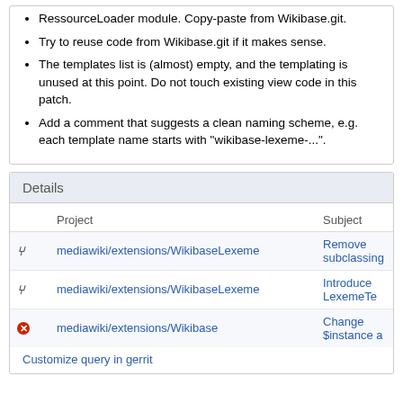RessourceLoader module. Copy-paste from Wikibase.git.
Try to reuse code from Wikibase.git if it makes sense.
The templates list is (almost) empty, and the templating is unused at this point. Do not touch existing view code in this patch.
Add a comment that suggests a clean naming scheme, e.g. each template name starts with "wikibase-lexeme-...".
Details
|  | Project | Subject |
| --- | --- | --- |
|  | mediawiki/extensions/WikibaseLexeme | Remove subclassing |
|  | mediawiki/extensions/WikibaseLexeme | Introduce LexemeTe |
|  | mediawiki/extensions/Wikibase | Change $instance a |
Customize query in gerrit